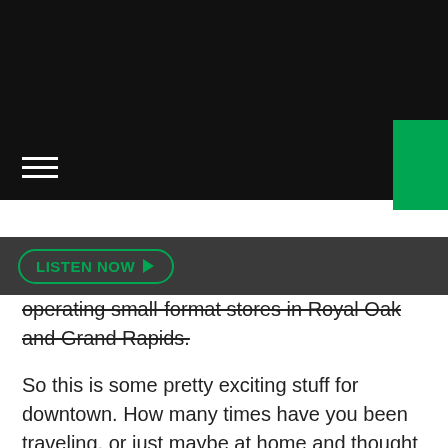[Figure (screenshot): Black navigation bar with hamburger menu icon on left and green block on right]
LISTEN NOW ▶
operating small-format stores in Royal Oak and Grand Rapids.
So this is some pretty exciting stuff for downtown. How many times have you been traveling, or just maybe at home and thought that you wished there was a store like Meijer close by? This will be especially good for all of the people downtown who come here for conventions and the like who will have a place to stop by and pick a couple of things up during their stay.
And according to the Lansing State Journal, this new Meijer location is going to create employment opportunity, too. The